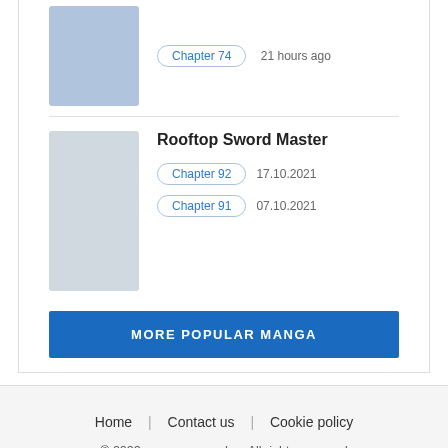Chapter 74   21 hours ago
Rooftop Sword Master
Chapter 92   17.10.2021
Chapter 91   07.10.2021
MORE POPULAR MANGA
Home | Contact us | Cookie policy
© 2022 mangame.org Inc. All rights reserved